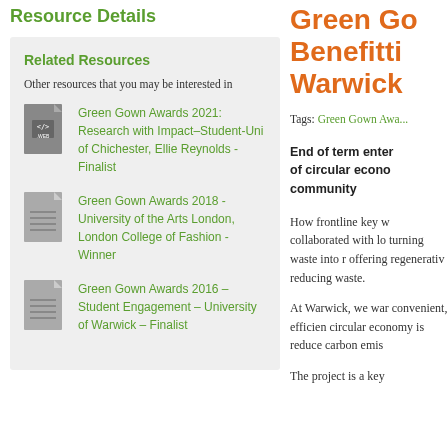Resource Details
Related Resources
Other resources that you may be interested in
Green Gown Awards 2021: Research with Impact–Student-Uni of Chichester, Ellie Reynolds - Finalist
Green Gown Awards 2018 - University of the Arts London, London College of Fashion - Winner
Green Gown Awards 2016 – Student Engagement – University of Warwick – Finalist
Green Go Benefitti Warwick
Tags: Green Gown Awa...
End of term enter of circular econo community
How frontline key w collaborated with lo turning waste into r offering regenerativ reducing waste.
At Warwick, we war convenient, efficien circular economy is reduce carbon emis
The project is a key